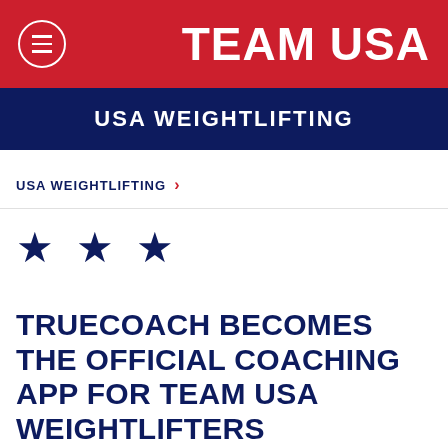TEAM USA
USA WEIGHTLIFTING
USA WEIGHTLIFTING >
[Figure (other): Three navy blue stars decorative element]
TRUECOACH BECOMES THE OFFICIAL COACHING APP FOR TEAM USA WEIGHTLIFTERS